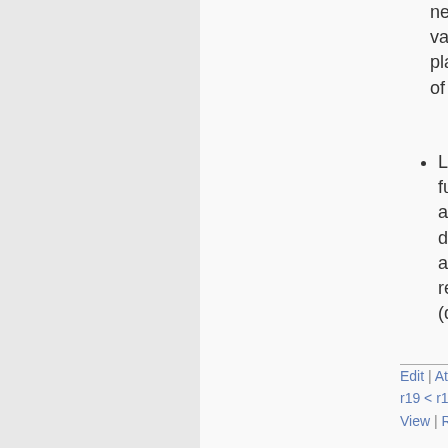with a query: never, always artificial value, based on a query plan, based on the length of an input queue,...
List of user defined functions -- with name, arguments (name, type, description), return type, and a short, human-readable documentation (does plain text suffice?)
Edit | Attach | Print version | History: r19 < r18 < r17 < r16 < r15 | Ba... View | Raw edit | More topic actions...